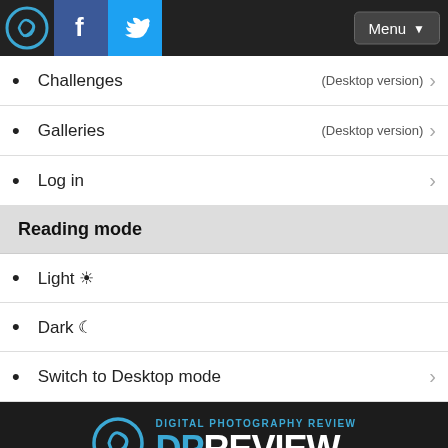DPReview header with logo, Facebook, Twitter buttons and Menu
Challenges (Desktop version)
Galleries (Desktop version)
Log in
Reading mode
Light ☀
Dark 🌙
Switch to Desktop mode
[Figure (logo): DPReview - Digital Photography Review, an Amazon company logo on dark background]
Privacy • Legal • About us
Community Guidelines • Feedback